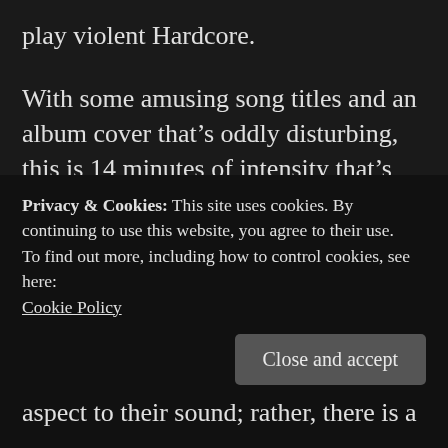play violent Hardcore.
With some amusing song titles and an album cover that's oddly disturbing, this is 14 minutes of intensity that's almost guaranteed to fuck you up.
Full to the brim of technical frenzy and passionate delivery, Witch of the Waste are an exciting brand of Extreme Metal that incorporates aspects of Death Metal, Grindcore
Privacy & Cookies: This site uses cookies. By continuing to use this website, you agree to their use.
To find out more, including how to control cookies, see here:
Cookie Policy
aspect to their sound; rather, there is a